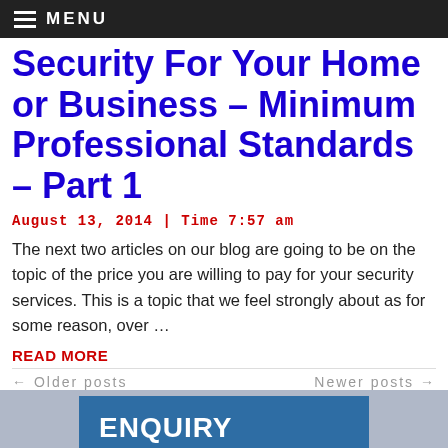MENU
Security For Your Home or Business – Minimum Professional Standards – Part 1
August 13, 2014 | Time 7:57 am
The next two articles on our blog are going to be on the topic of the price you are willing to pay for your security services. This is a topic that we feel strongly about as for some reason, over …
READ MORE
← Older posts    Newer posts →
ENQUIRY
Name